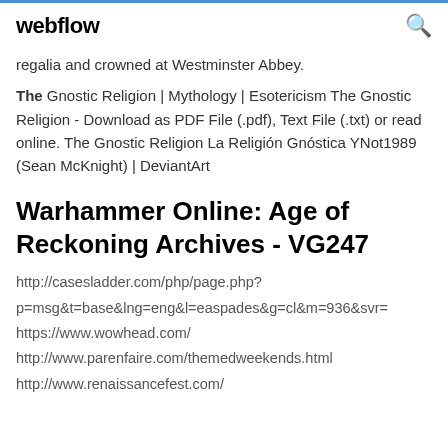webflow
regalia and crowned at Westminster Abbey.
The Gnostic Religion | Mythology | Esotericism The Gnostic Religion - Download as PDF File (.pdf), Text File (.txt) or read online. The Gnostic Religion La Religión Gnóstica YNot1989 (Sean McKnight) | DeviantArt
Warhammer Online: Age of Reckoning Archives - VG247
http://casesladder.com/php/page.php?p=msg&t=base&lng=eng&l=easpades&g=cl&m=936&svr=
https://www.wowhead.com/
http://www.parenfaire.com/themedweekends.html
http://www.renaissancefest.com/